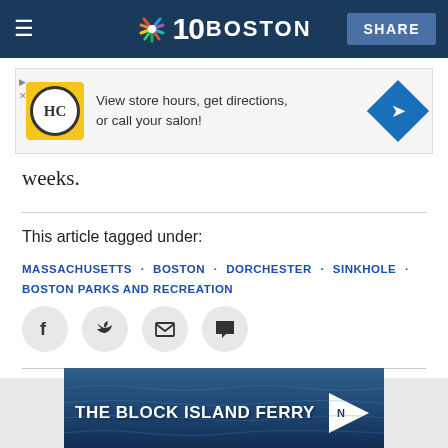NBC10 Boston — Navigation bar with hamburger menu, NBC10 Boston logo, and SHARE button
[Figure (screenshot): HC hair salon advertisement: View store hours, get directions, or call your salon!]
weeks.
This article tagged under:
MASSACHUSETTS · BOSTON · DORCHESTER · SINKHOLE · BOSTON PARKS AND RECREATION
[Figure (screenshot): Social sharing icons: Facebook, Twitter, Email, Comment]
[Figure (screenshot): THE BLOCK ISLAND FERRY advertisement banner]